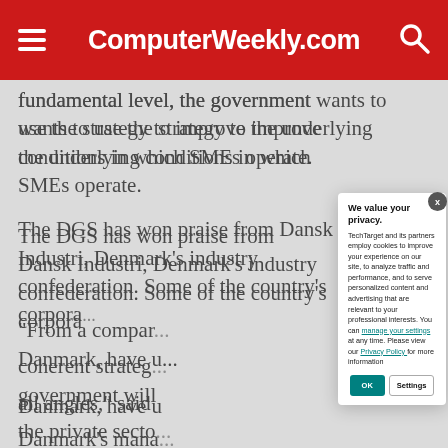ComputerWeekly.com
fundamental level, the government wants to use the strategy to improve the underlying conditions in which SMEs operate.
The DGS has won praise from Dansk Industri, Denmark's industry confederation. Some of the country's corporate champions, including Novo Nordisk and Maersk Danmark, have urged the government will ... the private sector
“From a company perspective, this gives us a coherent strategy ... all angles,” said ... Danmark’s manager ... skills, investment ... private spheres. ... areas."
We value your privacy.
TechTarget and its partners employ cookies to improve your experience on our site, to analyze traffic and performance, and to serve personalized content and advertising that are relevant to your professional interests. You can manage your settings at any time. Please view our Privacy Policy for more information